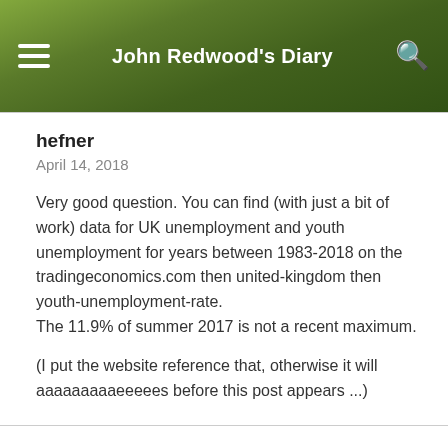John Redwood's Diary
hefner
April 14, 2018
Very good question. You can find (with just a bit of work) data for UK unemployment and youth unemployment for years between 1983-2018 on the tradingeconomics.com then united-kingdom then youth-unemployment-rate.
The 11.9% of summer 2017 is not a recent maximum.
(I put the website reference that, otherwise it will aaaaaaaaaeeeees before this post appears ...)